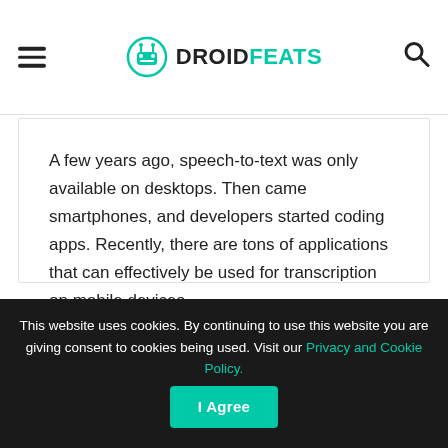DROIDFEATS
A few years ago, speech-to-text was only available on desktops. Then came smartphones, and developers started coding apps. Recently, there are tons of applications that can effectively be used for transcription on mobile devices.
Here are the best speech-to-text apps for 2019.
This website uses cookies. By continuing to use this website you are giving consent to cookies being used. Visit our Privacy and Cookie Policy. I Agree